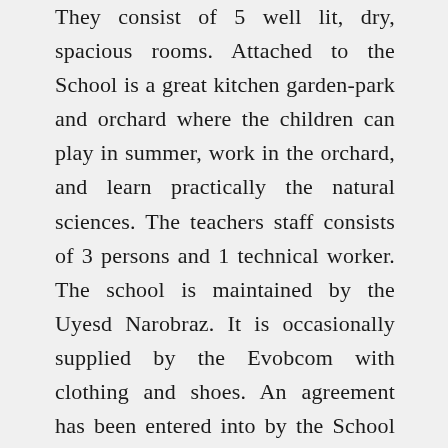They consist of 5 well lit, dry, spacious rooms. Attached to the School is a great kitchen garden-park and orchard where the children can play in summer, work in the orchard, and learn practically the natural sciences. The teachers staff consists of 3 persons and 1 technical worker. The school is maintained by the Uyesd Narobraz. It is occasionally supplied by the Evobcom with clothing and shoes. An agreement has been entered into by the School with the local Sel Soviet regarding the regular supply of the school by the latter, but so far this is only